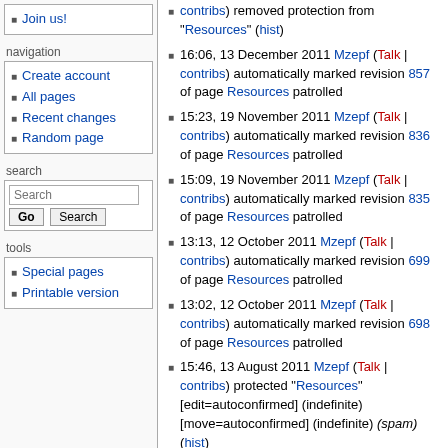Join us!
navigation
Create account
All pages
Recent changes
Random page
search
search input and buttons: Go, Search
tools
Special pages
Printable version
contribs) removed protection from "Resources" (hist)
16:06, 13 December 2011 Mzepf (Talk | contribs) automatically marked revision 857 of page Resources patrolled
15:23, 19 November 2011 Mzepf (Talk | contribs) automatically marked revision 836 of page Resources patrolled
15:09, 19 November 2011 Mzepf (Talk | contribs) automatically marked revision 835 of page Resources patrolled
13:13, 12 October 2011 Mzepf (Talk | contribs) automatically marked revision 699 of page Resources patrolled
13:02, 12 October 2011 Mzepf (Talk | contribs) automatically marked revision 698 of page Resources patrolled
15:46, 13 August 2011 Mzepf (Talk | contribs) protected "Resources" [edit=autoconfirmed] (indefinite) [move=autoconfirmed] (indefinite) (spam) (hist)
15:45, 13 August 2011 Mzepf (Talk |